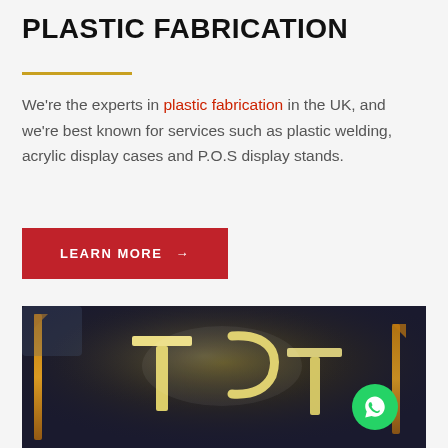PLASTIC FABRICATION
We're the experts in plastic fabrication in the UK, and we're best known for services such as plastic welding, acrylic display cases and P.O.S display stands.
LEARN MORE →
[Figure (photo): Close-up photo of illuminated acrylic/plastic fabrication with glowing light-up letters or logo shapes framed in an amber/copper acrylic border, dark background]